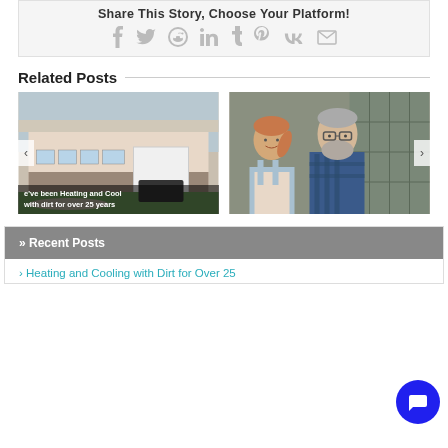Share This Story, Choose Your Platform!
[Figure (illustration): Social media sharing icons: Facebook, Twitter, Reddit, LinkedIn, Tumblr, Pinterest, VK, Email (envelope) — displayed in light grey]
Related Posts
[Figure (photo): Photo of a commercial building (HVAC company office) with green lawn, overlaid with text 've been Heating and Cool with dirt for over 25 years'. Left navigation arrow visible.]
[Figure (photo): Photo of an older man with grey beard and glasses standing with a young woman/girl outdoors, smiling. Right navigation arrow visible.]
» Recent Posts
Heating and Cooling with Dirt for Over 25